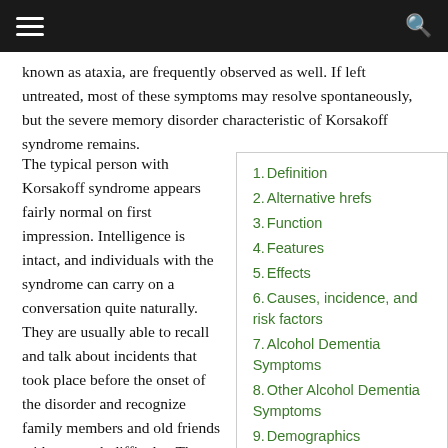known as ataxia, are frequently observed as well. If left untreated, most of these symptoms may resolve spontaneously, but the severe memory disorder characteristic of Korsakoff syndrome remains.
The typical person with Korsakoff syndrome appears fairly normal on first impression. Intelligence is intact, and individuals with the syndrome can carry on a conversation quite naturally. They are usually able to recall and talk about incidents that took place before the onset of the disorder and recognize family members and old friends without much difficulty. The ability to form new memories is nearly absent, however. In the course of conversation, people with Korsakoff
1. Definition
2. Alternative hrefs
3. Function
4. Features
5. Effects
6. Causes, incidence, and risk factors
7. Alcohol Dementia Symptoms
8. Other Alcohol Dementia Symptoms
9. Demographics